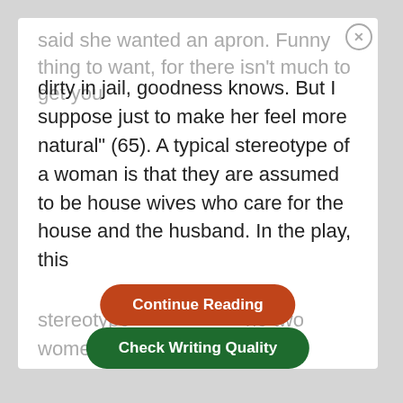said she wanted an apron. Funny thing to want, for there isn't much to get you dirty in jail, goodness knows. But I suppose just to make her feel more natural" (65). A typical stereotype of a woman is that they are assumed to be house wives who care for the house and the husband. In the play, this stereotype ... ne two women describe how Mrs.
[Figure (screenshot): Orange rounded-rectangle button labeled 'Continue Reading']
[Figure (screenshot): Dark green rounded-rectangle button labeled 'Check Writing Quality']